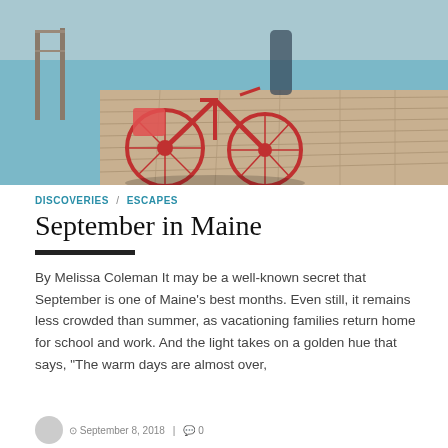[Figure (photo): Red bicycles parked on a wooden dock/pier with blue water and wooden railing in the background, sunny day]
DISCOVERIES / ESCAPES
September in Maine
By Melissa Coleman It may be a well-known secret that September is one of Maine's best months. Even still, it remains less crowded than summer, as vacationing families return home for school and work. And the light takes on a golden hue that says, "The warm days are almost over,
September 8, 2018 | 0